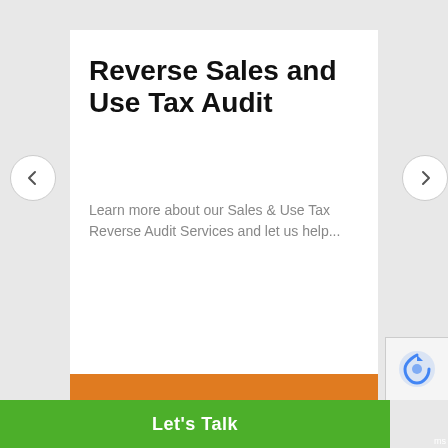Reverse Sales and Use Tax Audit
Learn more about our Sales & Use Tax Reverse Audit Services and let us help...
Let's Talk